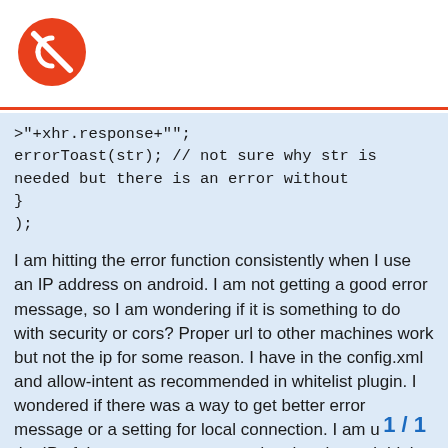onclick='tryConnect(true);'>"+xhr.response+"";
errorToast(str); // not sure why str is needed but there is an error without
}
);
I am hitting the error function consistently when I use an IP address on android. I am not getting a good error message, so I am wondering if it is something to do with security or cors? Proper url to other machines work but not the ip for some reason. I have in the config.xml and allow-intent as recommended in whitelist plugin. I wondered if there was a way to get better error message or a setting for local connection. I am using the IP of the computer connected to the phone. I think that should be fine?
When I paste the url in a browser on t fine. Originally I thought it was becau
1 / 1